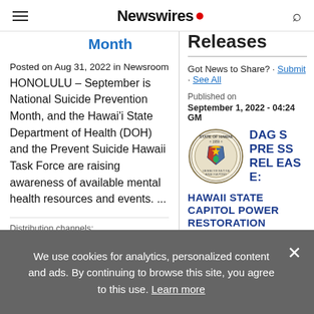Newswires
Month
Releases
Posted on Aug 31, 2022 in Newsroom HONOLULU – September is National Suicide Prevention Month, and the Hawai'i State Department of Health (DOH) and the Prevent Suicide Hawaii Task Force are raising awareness of available mental health resources and events. ...
Distribution channels:
Published on 03:44 GMT
Got News to Share? · Submit · See All
Published on
September 1, 2022 - 04:24 GM
[Figure (logo): State of Hawaii official seal, circular emblem with 1959 and state imagery]
DAGS PRESS RELEASE: HAWAII STATE CAPITOL POWER RESTORATION
We use cookies for analytics, personalized content and ads. By continuing to browse this site, you agree to this use. Learn more